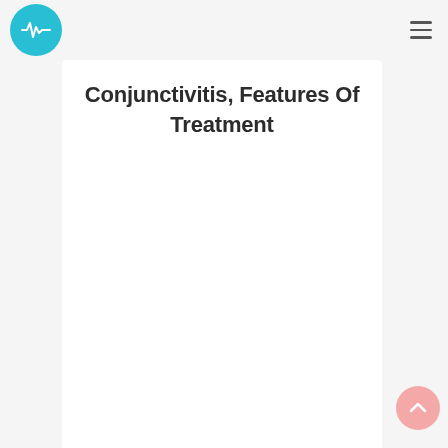[Figure (logo): Circular teal/cyan logo with a white heartbeat/pulse line symbol]
Conjunctivitis, Features Of Treatment
[Figure (other): Upward arrow scroll-to-top button, pink circular background]